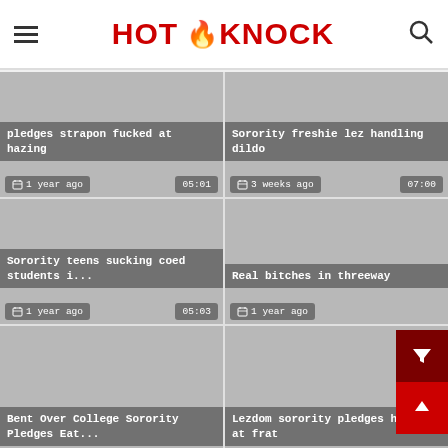HOT KNOCK
[Figure (screenshot): Video thumbnail 1 - pledges strapon fucked at hazing, 1 year ago, 05:01]
[Figure (screenshot): Video thumbnail 2 - Sorority freshie lez handling dildo, 3 weeks ago, 07:00]
[Figure (screenshot): Video thumbnail 3 - Sorority teens sucking coed students i..., 1 year ago, 05:03]
[Figure (screenshot): Video thumbnail 4 - Real bitches in threeway, 1 year ago]
[Figure (screenshot): Video thumbnail 5 - Bent Over College Sorority Pledges Eat... (partially visible)]
[Figure (screenshot): Video thumbnail 6 - Lezdom sorority pledges hazed at frat (partially visible)]